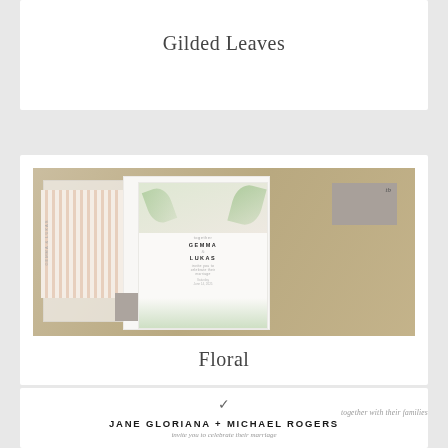Gilded Leaves
[Figure (photo): Photograph of a floral wedding invitation suite laid out on a kraft paper background, showing multiple layered cards including a vellum overlay, a striped envelope liner, gray accent pieces, and a main invitation card with botanical illustrations and couple's names GEMMA and LUKAS.]
Floral
[Figure (illustration): Preview of a wedding invitation design showing a decorative bird or check mark logo, italic text 'together with their families', bold uppercase text 'JANE GLORIANA + MICHAEL ROGERS', and italic text 'invite you to celebrate their marriage'.]